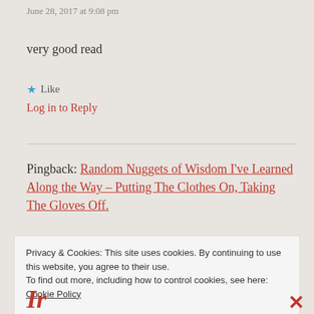June 28, 2017 at 9:08 pm
very good read
★ Like
Log in to Reply
Pingback: Random Nuggets of Wisdom I've Learned Along the Way – Putting The Clothes On, Taking The Gloves Off.
Privacy & Cookies: This site uses cookies. By continuing to use this website, you agree to their use.
To find out more, including how to control cookies, see here: Cookie Policy
Close and accept
Ir